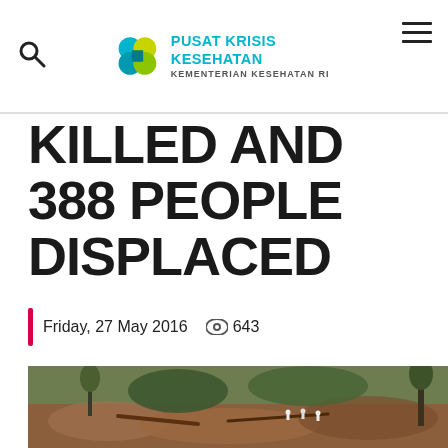PUSAT KRISIS KESEHATAN KEMENTERIAN KESEHATAN RI
KILLED AND 388 PEOPLE DISPLACED
Friday, 27 May 2016  643
[Figure (photo): Aerial or ground-level view of a landslide disaster area with brown mud covering the terrain, fallen trees, debris, and people visible in the background amid dense green forest hillside.]